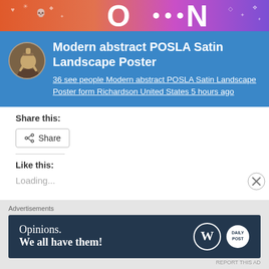[Figure (illustration): Colorful banner with gradient background in orange, pink, purple tones with decorative icons and large letter N]
Modern abstract POSLA Satin Landscape Poster
36 see people Modern abstract POSLA Satin Landscape Poster form Richardson United States 5 hours ago
Share this:
Share
Like this:
Loading...
Advertisements
[Figure (screenshot): WordPress advertisement banner: Opinions. We all have them! with WordPress and Daily Post logos]